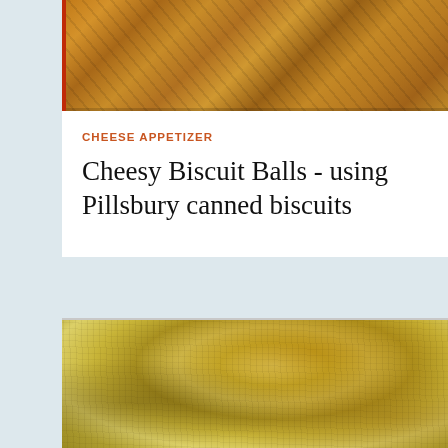[Figure (photo): Close-up photo of golden-brown baked biscuit rolls on a red surface, viewed from above]
CHEESE APPETIZER
Cheesy Biscuit Balls - using Pillsbury canned biscuits
[Figure (photo): Overhead close-up photo of cheesy biscuit balls baked together in a pan, covered with melted cheese and green herbs]